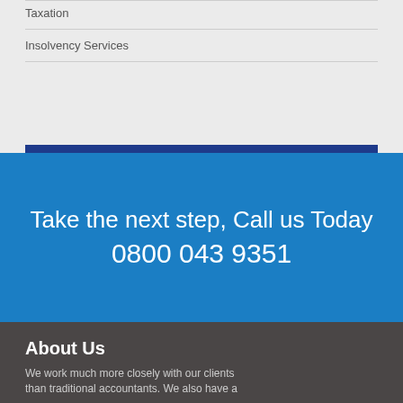Taxation
Insolvency Services
Take the next step, Call us Today
0800 043 9351
About Us
We work much more closely with our clients than traditional accountants. We also have a